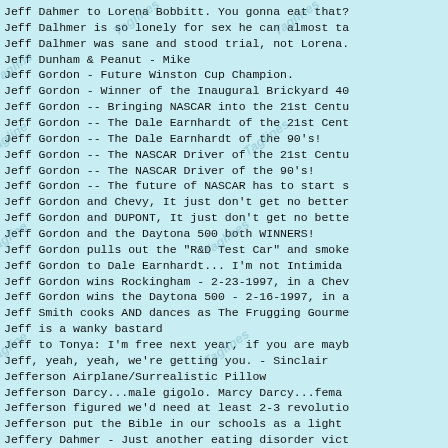Jeff Dahmer to Lorena Bobbitt. You gonna eat that?
Jeff Dalhmer is so lonely for sex he can almost ta
Jeff Dalhmer was sane and stood trial, not Lorena.
Jeff Dunham & Peanut - Mike
Jeff Gordon - Future Winston Cup Champion.
Jeff Gordon - Winner of the Inaugural Brickyard 40
Jeff Gordon -- Bringing NASCAR into the 21st Centu
Jeff Gordon -- The Dale Earnhardt of the 21st Cent
Jeff Gordon -- The Dale Earnhardt of the 90's!
Jeff Gordon -- The NASCAR Driver of the 21st Centu
Jeff Gordon -- The NASCAR Driver of the 90's!
Jeff Gordon -- The future of NASCAR has to start s
Jeff Gordon and Chevy, It just don't get no better
Jeff Gordon and DUPONT, It just don't get no bette
Jeff Gordon and the Daytona 500 both WINNERS!
Jeff Gordon pulls out the "R&D Test Car" and smoke
Jeff Gordon to Dale Earnhardt...  I'm not Intimida
Jeff Gordon wins Rockingham - 2-23-1997, in a Chev
Jeff Gordon wins the Daytona 500 - 2-16-1997, in a
Jeff Smith cooks AND dances as The Frugging Gourme
Jeff is a wanky bastard
Jeff to Tonya: I'm free next year, if you are mayb
Jeff, yeah, yeah, we're getting you. - Sinclair
Jefferson Airplane/Surrealistic Pillow
Jefferson Darcy...male gigolo.  Marcy Darcy...fema
Jefferson figured we'd need at least 2-3 revolutio
Jefferson put the Bible in our schools as a light
Jeffery Dahmer - Just another eating disorder vict
Jeffery Dahmer Borg: Prepare to be assim..err..dig
Jeffery Dahmer to Lorena Bobbit:  You gonna eat th
Jeffery Dahmer was sober in court as well as...